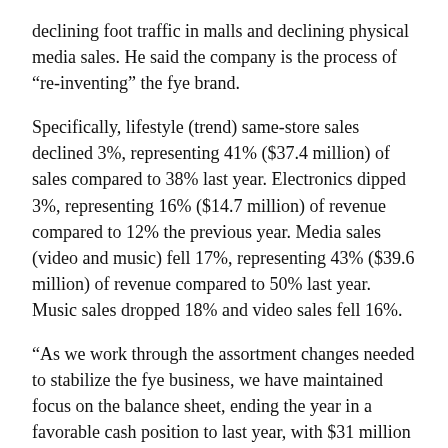declining foot traffic in malls and declining physical media sales. He said the company is the process of “re-inventing” the fye brand.
Specifically, lifestyle (trend) same-store sales declined 3%, representing 41% ($37.4 million) of sales compared to 38% last year. Electronics dipped 3%, representing 16% ($14.7 million) of revenue compared to 12% the previous year. Media sales (video and music) fell 17%, representing 43% ($39.6 million) of revenue compared to 50% last year. Music sales dropped 18% and video sales fell 16%.
“As we work through the assortment changes needed to stabilize the fye business, we have maintained focus on the balance sheet, ending the year in a favorable cash position to last year, with $31 million on hand and no debt,” Feurer said in a statement.